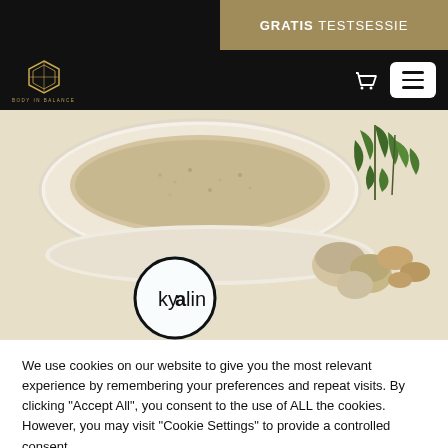GRATIS TESTSESSIE
[Figure (logo): Body in Balance logo with diamond/shield icon and text 'BODY IN BALANCE']
[Figure (photo): Food photo showing a white bowl with grain/porridge, mushrooms, nuts and green herb garnish, with Kyalin brand logo overlay]
We use cookies on our website to give you the most relevant experience by remembering your preferences and repeat visits. By clicking "Accept All", you consent to the use of ALL the cookies. However, you may visit "Cookie Settings" to provide a controlled consent.